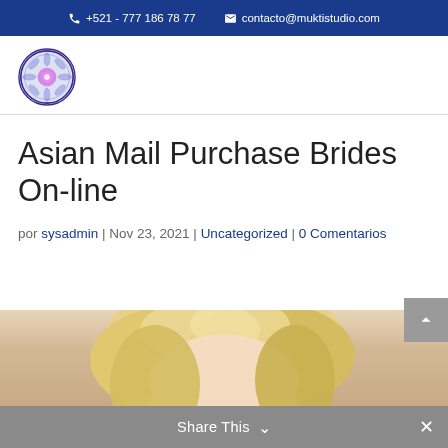+521 - 777 186 78 77   contacto@muktistudio.com
[Figure (logo): Circular mandala-style logo with blue and purple colors for Mukti Studio]
Asian Mail Purchase Brides On-line
por sysadmin | Nov 23, 2021 | Uncategorized | 0 Comentarios
[Figure (photo): Photo of a blonde woman, cropped to show the top portion of her face and hair]
Share This